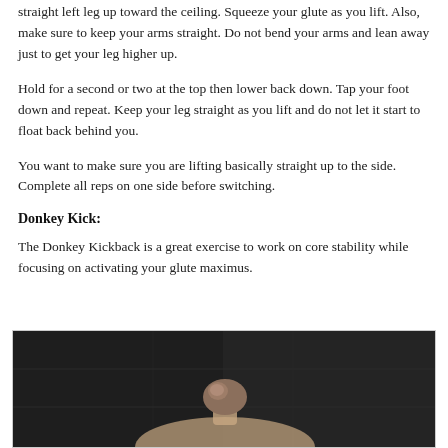straight left leg up toward the ceiling. Squeeze your glute as you lift. Also, make sure to keep your arms straight. Do not bend your arms and lean away just to get your leg higher up.
Hold for a second or two at the top then lower back down. Tap your foot down and repeat. Keep your leg straight as you lift and do not let it start to float back behind you.
You want to make sure you are lifting basically straight up to the side.  Complete all reps on one side before switching.
Donkey Kick:
The Donkey Kickback is a great exercise to work on core stability while focusing on activating your glute maximus.
[Figure (photo): Photo of a person performing the Donkey Kick exercise, shot against a dark background. A person with hair in a bun is visible from the upper body down, positioned on all fours.]